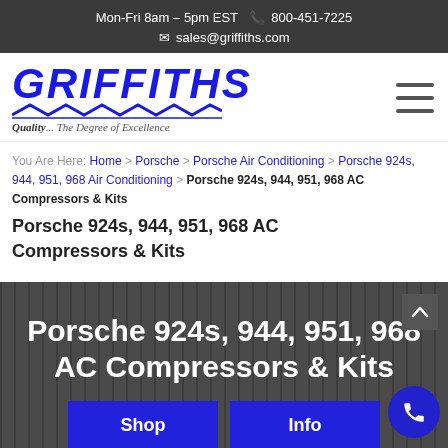Mon-Fri 8am – 5pm EST  800-451-7225  sales@griffiths.com
[Figure (logo): Griffiths company logo with blue italic bold text 'GRIFFITHS', wave underline, and tagline 'Quality... The Degree of Excellence']
You Are Here: Home > Porsche > Porsche Air Conditioning > Porsche 924s, 944, 951, 968 Air Conditioning > Porsche 924s, 944, 951, 968 AC Compressors & Kits
Porsche 924s, 944, 951, 968 AC Compressors & Kits
Porsche 924s, 944, 951, 968 AC Compressors & Kits